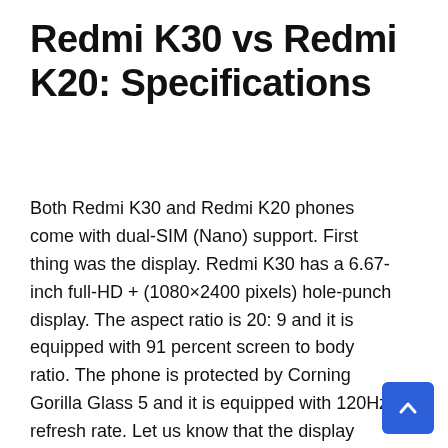Redmi K30 vs Redmi K20: Specifications
Both Redmi K30 and Redmi K20 phones come with dual-SIM (Nano) support. First thing was the display. Redmi K30 has a 6.67-inch full-HD + (1080×2400 pixels) hole-punch display. The aspect ratio is 20: 9 and it is equipped with 91 percent screen to body ratio. The phone is protected by Corning Gorilla Glass 5 and it is equipped with 120Hz refresh rate. Let us know that the display comes with HDR 10 support. At the same time, Redmi K20 has a 6.39-inch AMOLED full-HD + (1080×2340 pixels) display. Its aspect ratio is 19.5: 9 and screen-to-body ratio is 91.9. It has a refresh rate of 60Hz and